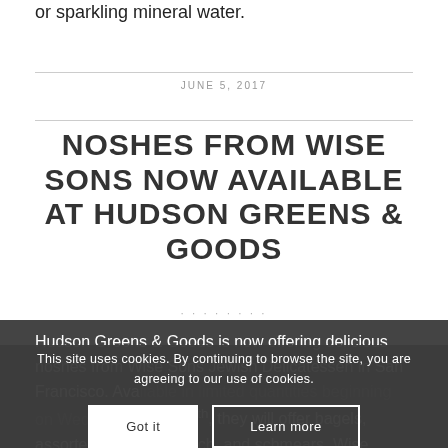or sparkling mineral water.
JUNE 5, 2017
NOSHES FROM WISE SONS NOW AVAILABLE AT HUDSON GREENS & GOODS
Hudson Greens & Goods is now offering delicious noshes from Wise Sons Jewish Delicatessen in San Francisco. Available in limited quantities beginning on Wednesday, June 7th, they will offer bagels, assorted babka, rugelach, and schmears. Wise
This site uses cookies. By continuing to browse the site, you are agreeing to our use of cookies.